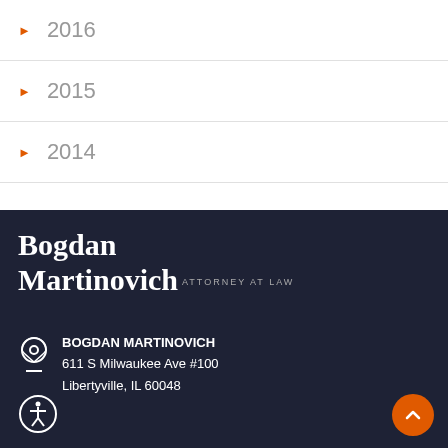▶ 2016
▶ 2015
▶ 2014
Bogdan Martinovich ATTORNEY AT LAW
BOGDAN MARTINOVICH
611 S Milwaukee Ave #100
Libertyville, IL 60048